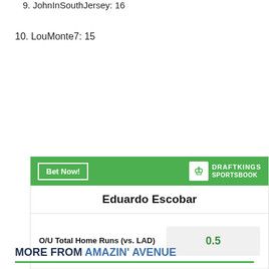9. JohnInSouthJersey: 16
10. LouMonte7: 15
[Figure (other): DraftKings Sportsbook betting widget for Eduardo Escobar showing O/U Total Home Runs (vs. LAD): 0.5, O/U Total Hits (vs. LAD): 0.5, O/U Total Singles (vs. LAD): 0.5]
MORE FROM AMAZIN' AVENUE